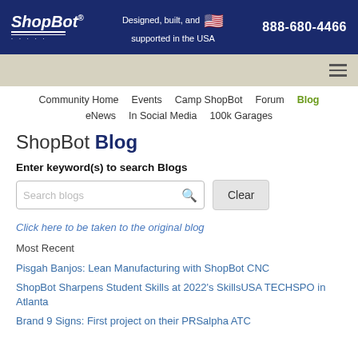ShopBot | Designed, built, and supported in the USA | 888-680-4466
[Figure (logo): ShopBot logo with text and underline, white on dark navy background]
Designed, built, and supported in the USA
888-680-4466
[Figure (other): Hamburger menu icon (three horizontal lines)]
Community Home  Events  Camp ShopBot  Forum  Blog  eNews  In Social Media  100k Garages
ShopBot Blog
Enter keyword(s) to search Blogs
Search blogs
Clear
Click here to be taken to the original blog
Most Recent
Pisgah Banjos: Lean Manufacturing with ShopBot CNC
ShopBot Sharpens Student Skills at 2022's SkillsUSA TECHSPO in Atlanta
Brand 9 Signs: First project on their PRSalpha ATC